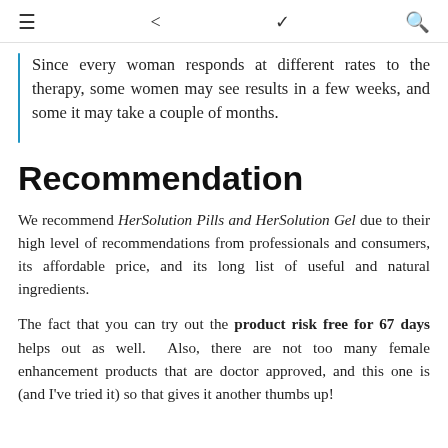≡  ⋮  ∨  🔍
Since every woman responds at different rates to the therapy, some women may see results in a few weeks, and some it may take a couple of months.
Recommendation
We recommend HerSolution Pills and HerSolution Gel due to their high level of recommendations from professionals and consumers, its affordable price, and its long list of useful and natural ingredients.
The fact that you can try out the product risk free for 67 days helps out as well. Also, there are not too many female enhancement products that are doctor approved, and this one is (and I've tried it) so that gives it another thumbs up!